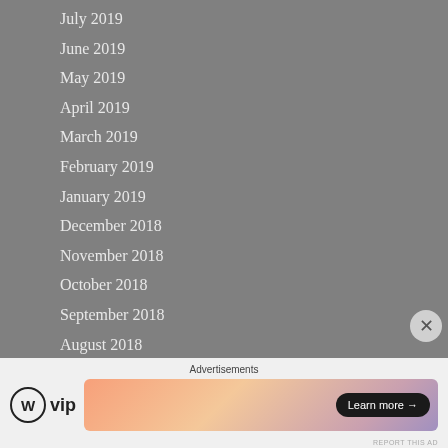July 2019
June 2019
May 2019
April 2019
March 2019
February 2019
January 2019
December 2018
November 2018
October 2018
September 2018
August 2018
July 2018
June 2018
May 2018
April 2018
Advertisements
[Figure (logo): WordPress VIP logo with circular WP icon and 'vip' text]